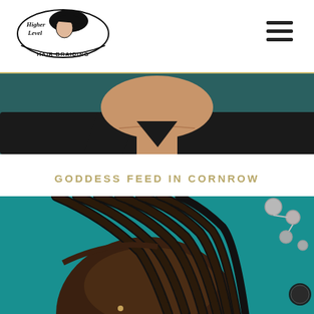[Figure (logo): Higher Level Hair Braiding logo with woman illustration in oval]
[Figure (photo): Close-up of a woman's neck and shoulders in a black top, cropped hero image]
GODDESS FEED IN CORNROW
[Figure (photo): Woman with goddess feed-in cornrow braids against a teal background, with decorative gems/jewelry visible on the right side]